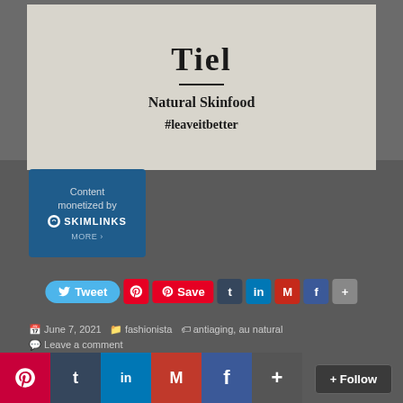[Figure (photo): Product photo of a skin care brand with text 'Natural Skinfood' and '#leaveitbetter' on a light beige background with partial brand name at top]
[Figure (screenshot): Skimlinks advertisement box: 'Content monetized by SKIMLINKS' with MORE button]
[Figure (screenshot): Social sharing buttons row: Tweet, Pinterest, Save, Tumblr, LinkedIn, Gmail, Facebook, More]
June 7, 2021  fashionista  antiaging, au natural  Leave a comment
[Figure (screenshot): Bottom social sharing bar: Pinterest, Tumblr, LinkedIn, Gmail, Facebook, More, Follow button]